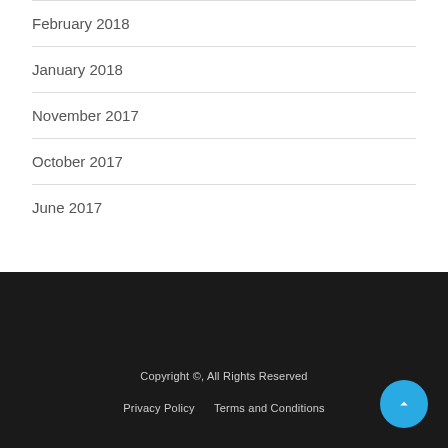February 2018
January 2018
November 2017
October 2017
June 2017
Copyright ©, All Rights Reserved
Privacy Policy   Terms and Conditions